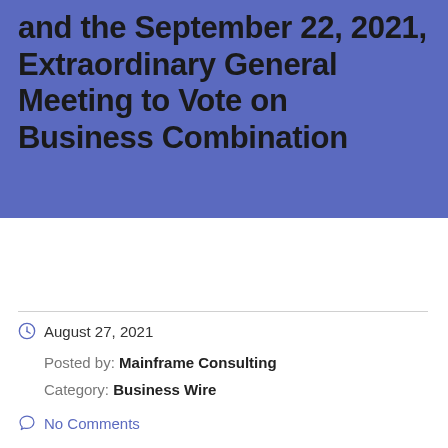and the September 22, 2021, Extraordinary General Meeting to Vote on Business Combination
August 27, 2021
Posted by: Mainframe Consulting
Category: Business Wire
No Comments